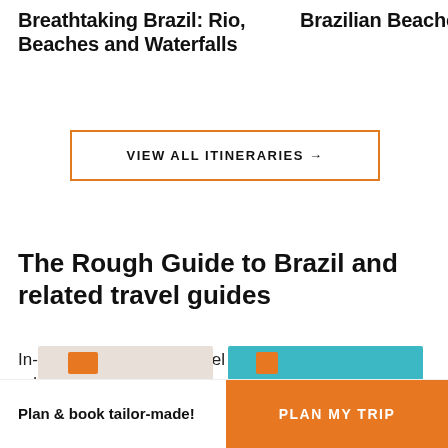Breathtaking Brazil: Rio, Beaches and Waterfalls
Brazilian Beaches: Botafogo and mo
VIEW ALL ITINERARIES →
The Rough Guide to Brazil and related travel guides
In-depth, easy-to-use travel guides filled with expert advice.
Plan & book tailor-made!
PLAN MY TRIP